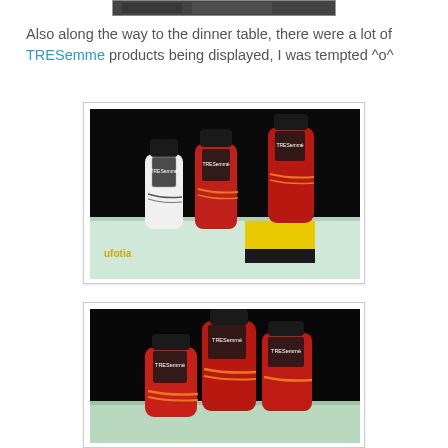[Figure (photo): Cropped top portion showing a dark/blurred image, framed with a light border]
Also along the way to the dinner table, there were a lot of TRESemme products being displayed, I was tempted ^o^
[Figure (photo): Photo of three TRESemme hair product bottles (one white, two red) displayed on a white surface with a yellow box. Watermark 'ufotia' in lower left.]
[Figure (photo): Photo of three red TRESemme hair product bottles displayed on a surface, taken from a closer angle.]